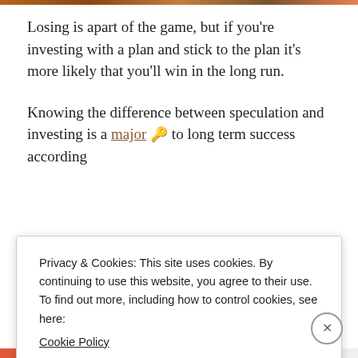Losing is apart of the game, but if you're investing with a plan and stick to the plan it's more likely that you'll win in the long run.
Knowing the difference between speculation and investing is a major 🔑 to long term success according
Privacy & Cookies: This site uses cookies. By continuing to use this website, you agree to their use.
To find out more, including how to control cookies, see here:
Cookie Policy
Close and accept